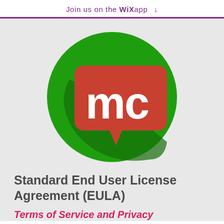Join us on the WiX app ↓
[Figure (logo): App logo: green circle with a red speech bubble containing white lowercase letters 'mc', with a long shadow effect on the green background.]
Standard End User License Agreement (EULA)
Terms of Service and Privacy